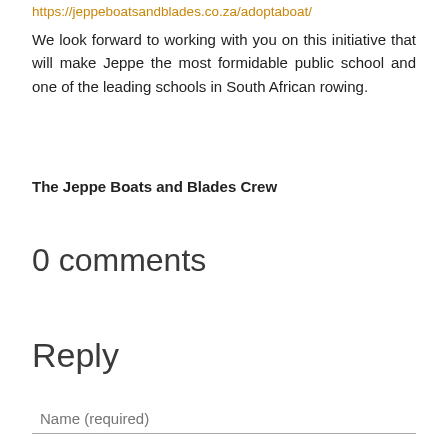https://jeppeboatsandblades.co.za/adoptaboat/
We look forward to working with you on this initiative that will make Jeppe the most formidable public school and one of the leading schools in South African rowing.
The Jeppe Boats and Blades Crew
0 comments
Reply
Name (required)